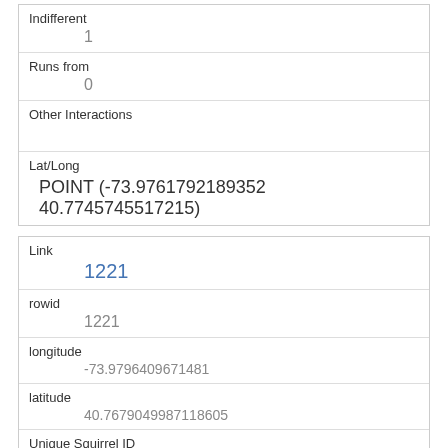| Indifferent | 1 |
| Runs from | 0 |
| Other Interactions |  |
| Lat/Long | POINT (-73.9761792189352 40.7745745517215) |
| Link | 1221 |
| rowid | 1221 |
| longitude | -73.9796409671481 |
| latitude | 40.7679049987118605 |
| Unique Squirrel ID | 1C-PM-1013-09 |
| Hectare | 01C |